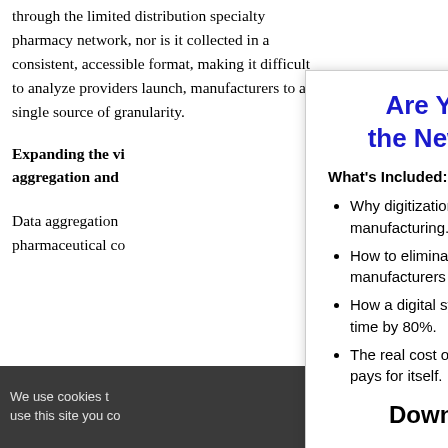through the limited distribution specialty pharmacy network, nor is it collected in a consistent, accessible format, making it difficult to analyze providers launch, manufacturers to any single source of granularity.
Expanding the vi aggregation and
Data aggregation pharmaceutical co
We use cookies t use this site you co
Are You Prepared for the New Digital Reality?
What's Included:
Why digitization is a must for competitive manufacturing.
How to eliminate shop floor errors that cost manufacturers millions.
How a digital system can decrease post-production time by 80%.
The real cost of inefficiency and why digitization pays for itself.
Download Whitepaper